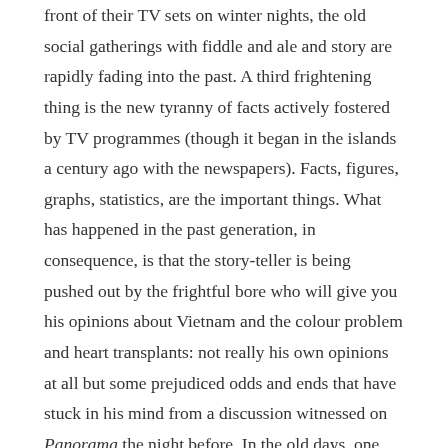front of their TV sets on winter nights, the old social gatherings with fiddle and ale and story are rapidly fading into the past. A third frightening thing is the new tyranny of facts actively fostered by TV programmes (though it began in the islands a century ago with the newspapers). Facts, figures, graphs, statistics, are the important things. What has happened in the past generation, in consequence, is that the story-teller is being pushed out by the frightful bore who will give you his opinions about Vietnam and the colour problem and heart transplants: not really his own opinions at all but some prejudiced odds and ends that have stuck in his mind from a discussion witnessed on Panorama the night before. In the old days, one imagines, such a bore would have been courteously ignored, or otherwise put in his place. Today he is listened to with all reverence.
The crude ballad of ‘Andrew Ross’ was an attempt by a pastoral community to explain a terrible thing that had happened to one of their own press-ganged boys. They experienced it themselves, ritually, in a ballad, and so it became a part of the total experience of the community.